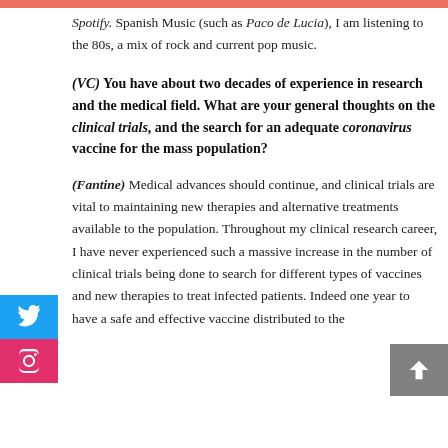Spotify. Spanish Music (such as Paco de Lucia), I am listening to the 80s, a mix of rock and current pop music.
(VC) You have about two decades of experience in research and the medical field. What are your general thoughts on the clinical trials, and the search for an adequate coronavirus vaccine for the mass population?
(Fantine) Medical advances should continue, and clinical trials are vital to maintaining new therapies and alternative treatments available to the population. Throughout my clinical research career, I have never experienced such a massive increase in the number of clinical trials being done to search for different types of vaccines and new therapies to treat infected patients. Indeed one year to have a safe and effective vaccine distributed to the